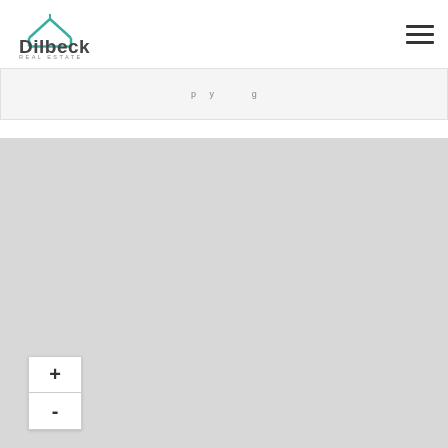Dilbeck Real Estate
p y g
[Figure (map): Gray placeholder map area with zoom in (+) and zoom out (-) controls in the lower left corner]